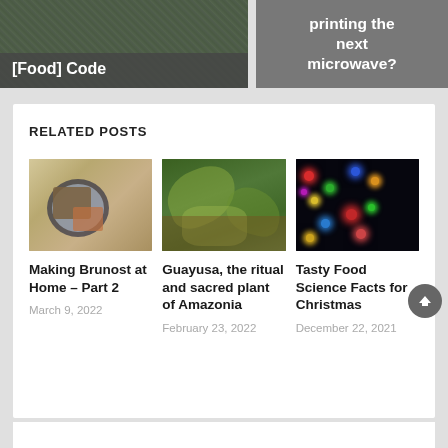[Figure (photo): Partial view of a blog post thumbnail with text '[Food] Code' on a dark overlay, food-related background]
[Figure (photo): Partial view of a blog post thumbnail with text 'printing the next microwave?' on a grey background]
RELATED POSTS
[Figure (photo): Photo of Brunost cheese on a wooden board with a blue-rimmed bowl]
Making Brunost at Home – Part 2
March 9, 2022
[Figure (photo): Photo of green leaves in a woven basket – Guayusa plant]
Guayusa, the ritual and sacred plant of Amazonia
February 23, 2022
[Figure (photo): Photo of colorful bokeh Christmas lights on a dark background]
Tasty Food Science Facts for Christmas
December 22, 2021